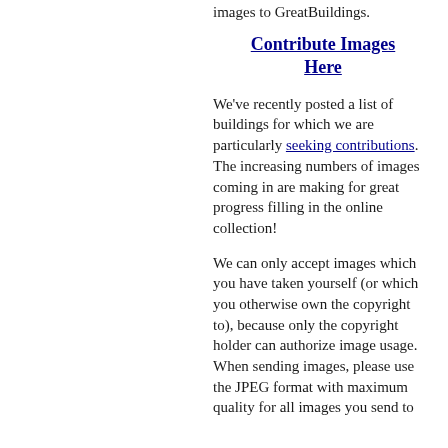images to GreatBuildings.
Contribute Images Here
We've recently posted a list of buildings for which we are particularly seeking contributions. The increasing numbers of images coming in are making for great progress filling in the online collection!
We can only accept images which you have taken yourself (or which you otherwise own the copyright to), because only the copyright holder can authorize image usage. When sending images, please use the JPEG format with maximum quality for all images you send to...